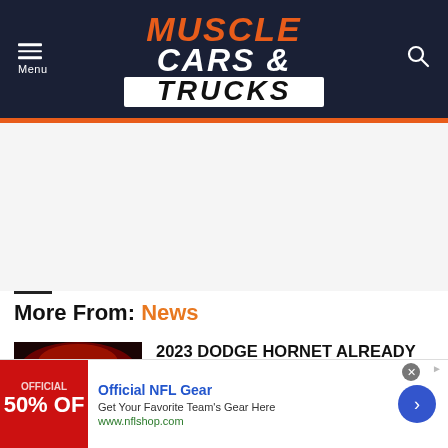[Figure (logo): Muscle Cars & Trucks website logo on dark navy background with hamburger menu on left and search icon on right]
More From: News
[Figure (photo): 2023 Dodge Hornet vehicle at a promotional event with red lighting and Hornet branding]
2023 DODGE HORNET ALREADY HAS 14,000 PREORDERS AND COUNTING
[Figure (infographic): Advertisement banner: Official NFL Gear - Get Your Favorite Team's Gear Here - www.nflshop.com - 50% OFF]